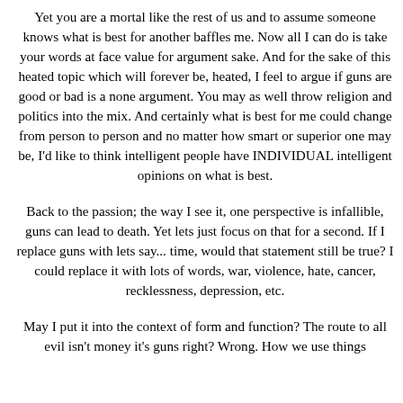Yet you are a mortal like the rest of us and to assume someone knows what is best for another baffles me. Now all I can do is take your words at face value for argument sake. And for the sake of this heated topic which will forever be, heated, I feel to argue if guns are good or bad is a none argument. You may as well throw religion and politics into the mix. And certainly what is best for me could change from person to person and no matter how smart or superior one may be, I'd like to think intelligent people have INDIVIDUAL intelligent opinions on what is best.
Back to the passion; the way I see it, one perspective is infallible, guns can lead to death. Yet lets just focus on that for a second. If I replace guns with lets say... time, would that statement still be true? I could replace it with lots of words, war, violence, hate, cancer, recklessness, depression, etc.
May I put it into the context of form and function? The route to all evil isn't money it's guns right? Wrong. How we use things